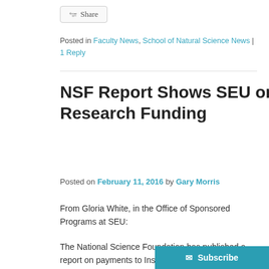Share
Posted in Faculty News, School of Natural Science News | 1 Reply
NSF Report Shows SEU on the Rise in Research Funding
Posted on February 11, 2016 by Gary Morris
From Gloria White, in the Office of Sponsored Programs at SEU:
The National Science Foundation has published a report on payments to Institutions of Higher Education (IHEs) by state for the prior year 2015 (please see the link below). St. Ed's had a good year in 2015 for payments from NSF on 3 of our active grants: